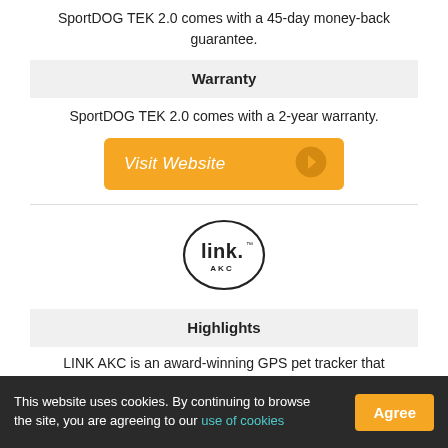SportDOG TEK 2.0 comes with a 45-day money-back guarantee.
Warranty
SportDOG TEK 2.0 comes with a 2-year warranty.
[Figure (other): Orange 'Visit Website' button with right-arrow circle icon]
[Figure (logo): Link AKC logo — stylized 'link.' text inside an oval circle, with 'AKC' underneath]
Highlights
LINK AKC is an award-winning GPS pet tracker that
This website uses cookies. By continuing to browse the site, you are agreeing to our use of cookies